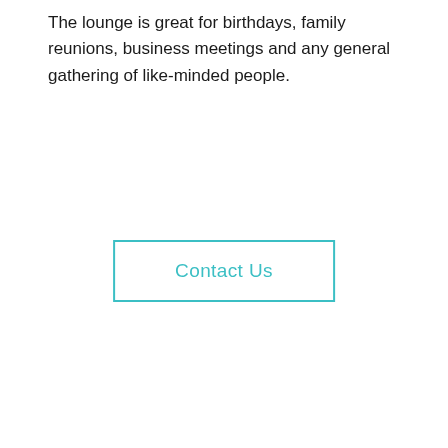The lounge is great for birthdays, family reunions, business meetings and any general gathering of like-minded people.
Contact Us